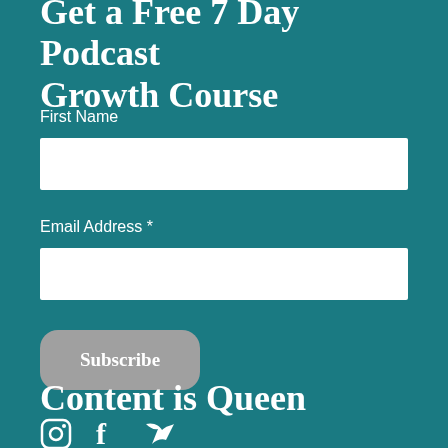Get a Free 7 Day Podcast Growth Course
First Name
Email Address *
Subscribe
Content is Queen
[Figure (illustration): Social media icons: Instagram, Facebook, Twitter]